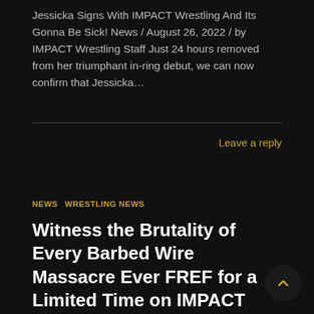Jessicka Signs With IMPACT Wrestling And Its Gonna Be Sick! News / August 26, 2022 / by IMPACT Wrestling Staff Just 24 hours removed from her triumphant in-ring debut, we can now confirm that Jessicka…
Leave a reply
NEWS   WRESTLING NEWS
Witness the Brutality of Every Barbed Wire Massacre Ever FREF for a Limited Time on IMPACT Plus